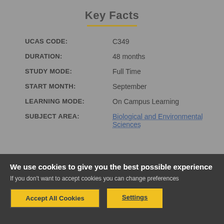Key Facts
| Field | Value |
| --- | --- |
| UCAS CODE: | C349 |
| DURATION: | 48 months |
| STUDY MODE: | Full Time |
| START MONTH: | September |
| LEARNING MODE: | On Campus Learning |
| SUBJECT AREA: | Biological and Environmental Sciences |
We use cookies to give you the best possible experience
If you don't want to accept cookies you can change preferences
Accept All Cookies
Settings